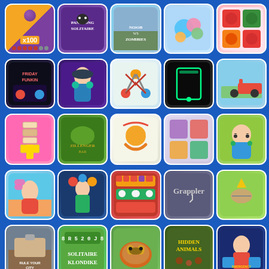[Figure (screenshot): Grid of 25 mobile game icons on a blue background. Row 1: x100 ball game (orange/purple), Pandjong Solitaire (purple panda), Noob vs Zombies (street scene), candy/donut match game (blue), fruit match grid (pink). Row 2: Friday Night Funkin (dark), character with headphones (purple), ball cross game (light), neon rectangle game (dark), Formula 1 racing (sky blue). Row 3: burger tower game (pink/purple), Zillenger Bar (green), basketball fire game (white), fruit match grid (lavender), character with glasses (yellow-green). Row 4: fashion avatar (sky blue), basketball character (dark blue), colorful slot/pattern game (red), Grappler text game (grey), burger lightning game (green). Row 5: Rule Your City (grey), Solitaire Klondike (green), cat photo, Hidden Animals (dark green), doctor emergency game (dark blue).]